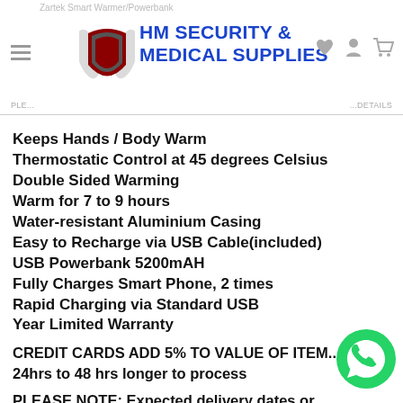HM SECURITY & MEDICAL SUPPLIES
Keeps Hands / Body Warm
Thermostatic Control at 45 degrees Celsius
Double Sided Warming
Warm for 7 to 9 hours
Water-resistant Aluminium Casing
Easy to Recharge via USB Cable(included)
USB Powerbank 5200mAH
Fully Charges Smart Phone, 2 times
Rapid Charging via Standard USB
Year Limited Warranty
CREDIT CARDS ADD 5% TO VALUE OF ITEM...
24hrs to 48 hrs longer to process
PLEASE NOTE: Expected delivery dates or